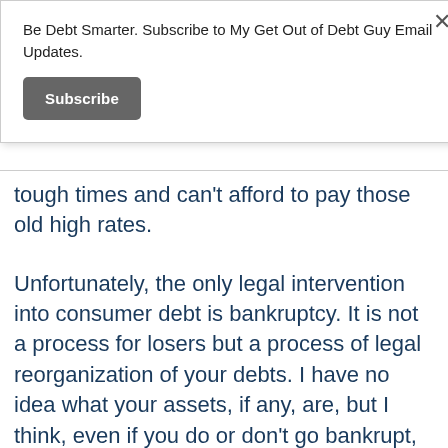Be Debt Smarter. Subscribe to My Get Out of Debt Guy Email Updates.
Subscribe
tough times and can’t afford to pay those old high rates.
Unfortunately, the only legal intervention into consumer debt is bankruptcy. It is not a process for losers but a process of legal reorganization of your debts. I have no idea what your assets, if any, are, but I think, even if you do or don’t go bankrupt, you need to go and meet with a local